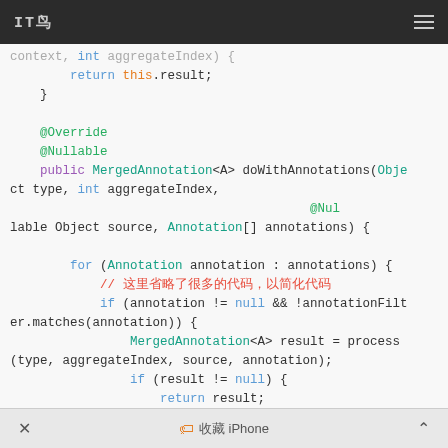IT鸟 [menu icon]
[Figure (screenshot): Java source code snippet showing a method returning this.result inside a closing brace, an @Override @Nullable annotated public method doWithAnnotations(Object type, int aggregateIndex, @Nullable Object source, Annotation[] annotations) with a for loop iterating annotations, an if check for annotation != null && !annotationFilter.matches(annotation), calling MergedAnnotation<A> result = process(type, aggregateIndex, source, annotation), and if (result != null) { return result;]
× 🏷 收藏 iPhone ^